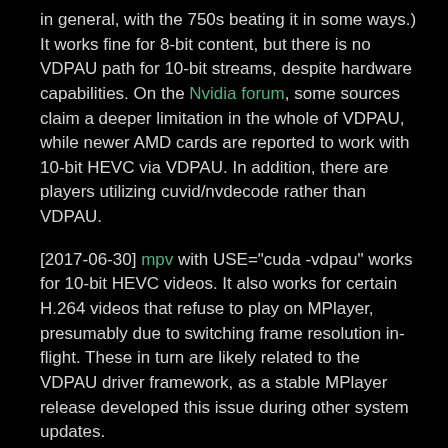in general, with the 750s beating it in some ways.) It works fine for 8-bit content, but there is no VDPAU path for 10-bit streams, despite hardware capabilities. On the Nvidia forum, some sources claim a deeper limitation in the whole of VDPAU, while newer AMD cards are reported to work with 10-bit HEVC via VDPAU. In addition, there are players utilizing cuvid/nvdecode rather than VDPAU.
[2017-06-30] mpv with USE="cuda -vdpau" works for 10-bit HEVC videos. It also works for certain H.264 videos that refuse to play on MPlayer, presumably due to switching frame resolution in-flight. These in turn are likely related to the VDPAU driver framework, as a stable MPlayer release developed this issue during other system updates.
CPU heat and cooling
The CPU/APU gets surprisingly hot for a system like this. From the looks of the stock heatsink, and more importantly the entire low-power concept, I expected fanless operation. Alas, the motherboard came with a CPU fan, although it is not installed by